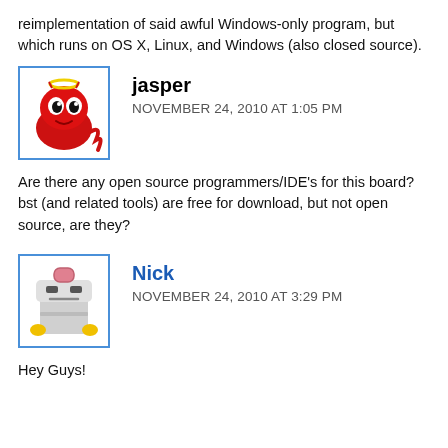reimplementation of said awful Windows-only program, but which runs on OS X, Linux, and Windows (also closed source).
jasper
NOVEMBER 24, 2010 AT 1:05 PM
Are there any open source programmers/IDE's for this board?
bst (and related tools) are free for download, but not open source, are they?
Nick
NOVEMBER 24, 2010 AT 3:29 PM
Hey Guys!